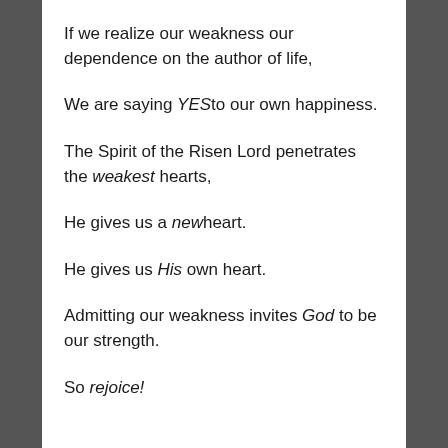If we realize our weakness our dependence on the author of life,
We are saying YES to our own happiness.
The Spirit of the Risen Lord penetrates the weakest hearts,
He gives us a new heart.
He gives us His own heart.
Admitting our weakness invites God to be our strength.
So rejoice!